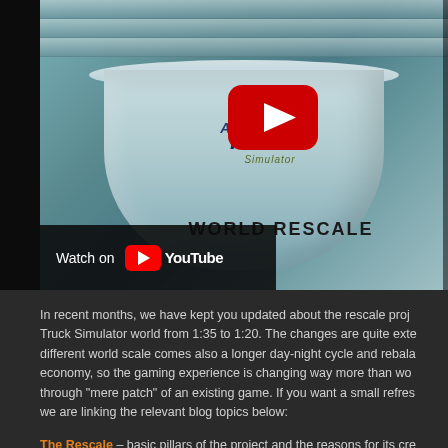[Figure (screenshot): YouTube video thumbnail showing an American Truck Simulator mug with 'WORLD RESCALE' text, featuring a YouTube play button overlay and 'Watch on YouTube' badge]
In recent months, we have kept you updated about the rescale proj- ect Truck Simulator world from 1:35 to 1:20. The changes are quite ext- different world scale comes also a longer day-night cycle and rebala- economy, so the gaming experience is changing way more than wo- through "mere patch" of an existing game. If you want a small refres- we are linking the relevant blog topics below:
The Rescale – basic pillars of the project and the reasons for its cre-
American Truck Simulator Rescale Screenshots – screenshots fo-